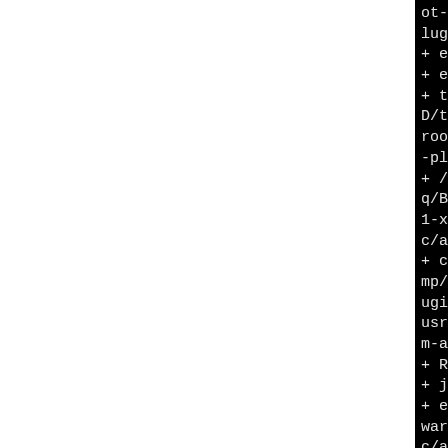ot-builder/usr/share/doc/lugins-arcam-av-1.2.7.1
+ export 'LC_ALL=C'
+ export DOCDIR
+ test -d /tmp/B.u75yrfiq/D/tmp/alsa-plugins-1.2.7.1-root-builder/usr/share/doc/-plugins-arcam-av-1.2.7.1
+ /bin/mkdir -p /tmp/B.u75yrfiq/BUILD/tmp/alsa-plugins-1.2.7.1-x32-root-builder/usr/share/doc/c/alsa-plugins-arcam-av-1
+ cp -pr doc/README-arcam-mp/B.u75yrfiq/BUILD/tmp/alsa-plugins-1.2.7.1-x32-root-builder/usr/share/doc/alsa-plugins-arcam-av-1.2.7.1
+ RPM_EC=0
+ jobs -p
+ exit 0
warning: absolute symlink c/alsa/conf.d/50-arcam-av-onf -> /usr/share/alsa/alsa/f.d/50-arcam-av-ctl.conf